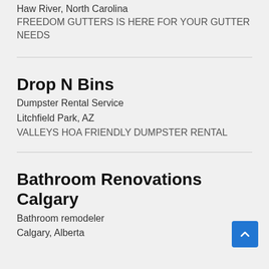Haw River, North Carolina
FREEDOM GUTTERS IS HERE FOR YOUR GUTTER NEEDS
Drop N Bins
Dumpster Rental Service
Litchfield Park, AZ
VALLEYS HOA FRIENDLY DUMPSTER RENTAL
Bathroom Renovations Calgary
Bathroom remodeler
Calgary, Alberta